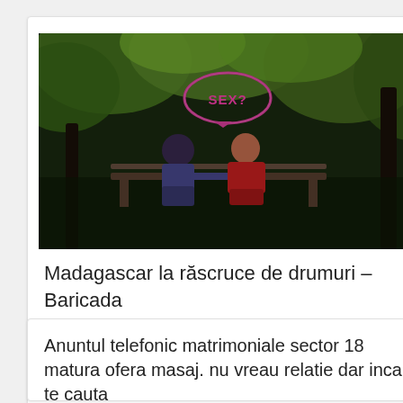[Figure (photo): A couple sitting on a park bench among green trees, with a pink neon speech bubble saying 'SEX?' overlaid on the image.]
Madagascar la răscruce de drumuri – Baricada
Anuntul telefonic matrimoniale sector 18 matura ofera masaj. nu vreau relatie dar inca te cauta